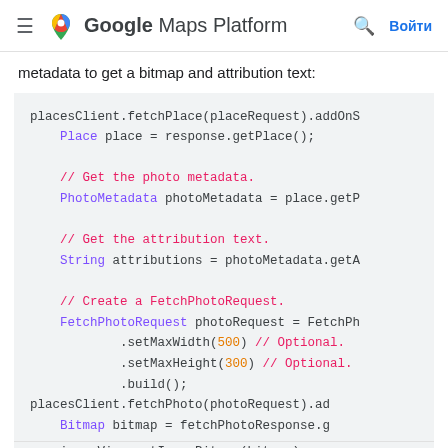Google Maps Platform
metadata to get a bitmap and attribution text:
[Figure (screenshot): Code snippet showing Android Java code using Places SDK: placesClient.fetchPlace(placeRequest).addOnS... Place place = response.getPlace(); // Get the photo metadata. PhotoMetadata photoMetadata = place.getP... // Get the attribution text. String attributions = photoMetadata.getA... // Create a FetchPhotoRequest. FetchPhotoRequest photoRequest = FetchPh... .setMaxWidth(500) // Optional. .setMaxHeight(300) // Optional. .build(); placesClient.fetchPhoto(photoRequest).ad Bitmap bitmap = fetchPhotoResponse.g imageView.setImageBitmap(bitmap);]